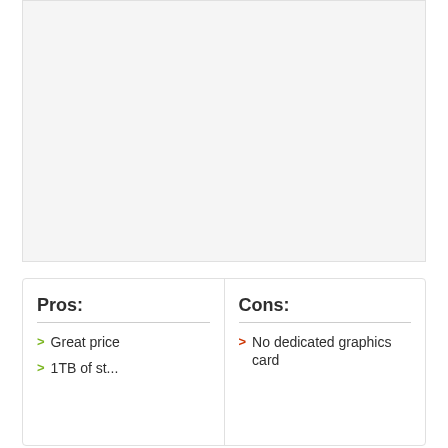[Figure (photo): Large image placeholder area at the top of the page, shown as a light gray rectangle.]
Pros:
Cons:
Great price
1TB of storage
No dedicated graphics card
graphics card